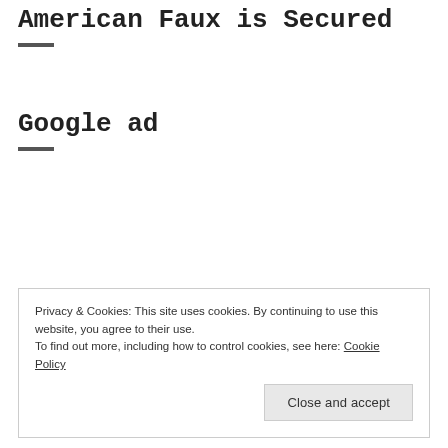American Faux is Secured
Google ad
Privacy & Cookies: This site uses cookies. By continuing to use this website, you agree to their use.
To find out more, including how to control cookies, see here: Cookie Policy
Close and accept